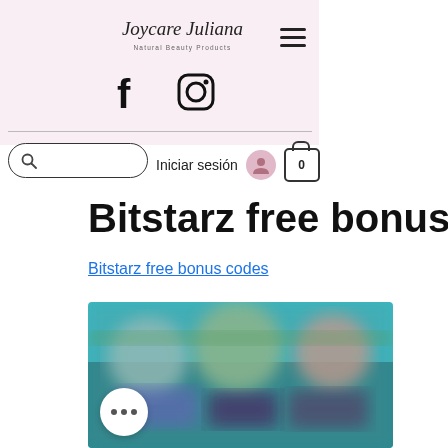Joycare Juliana Natural Beauty Products
[Figure (screenshot): Website screenshot showing Joycare Juliana natural beauty products store header with logo, hamburger menu, Facebook and Instagram icons, horizontal divider, search bar, 'Iniciar sesión' login button, user avatar icon, and shopping cart with 0 items.]
Bitstarz free bonus codes
Bitstarz free bonus codes
[Figure (photo): Blurred screenshot of a colorful website or game interface with teal/blue and green colors, partially obscured content, and a white circular button with three dots (more options).]